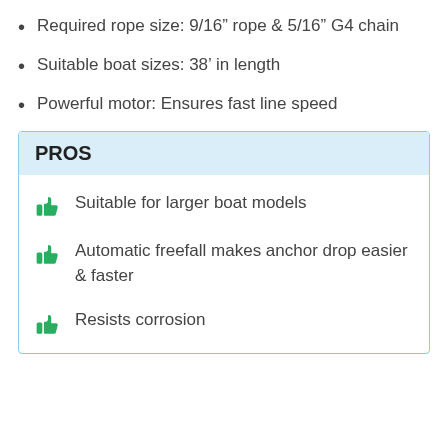Required rope size: 9/16" rope & 5/16" G4 chain
Suitable boat sizes: 38' in length
Powerful motor: Ensures fast line speed
PROS
Suitable for larger boat models
Automatic freefall makes anchor drop easier & faster
Resists corrosion